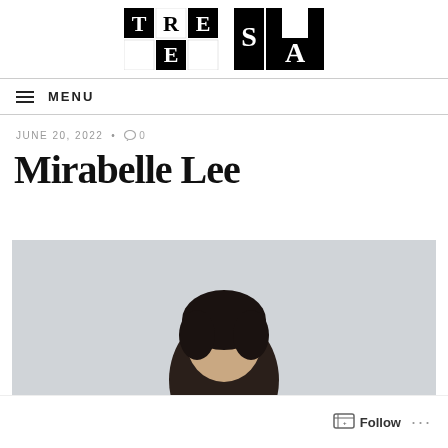[Figure (logo): TRESA logo — block checkerboard pattern with letters T, R, E, S, A alternating black and white squares]
☰ MENU
JUNE 20, 2022 • 0
Mirabelle Lee
[Figure (photo): Portrait photo of a person with dark hair against a light gray background, partially cropped]
Follow •••